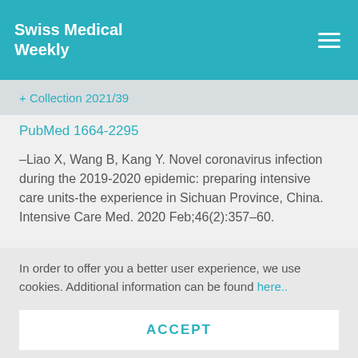Swiss Medical Weekly
Collection 2021/39
PubMed 1664-2295
–Liao X, Wang B, Kang Y. Novel coronavirus infection during the 2019-2020 epidemic: preparing intensive care units-the experience in Sichuan Province, China. Intensive Care Med. 2020 Feb;46(2):357–60.
In order to offer you a better user experience, we use cookies. Additional information can be found here..
ACCEPT